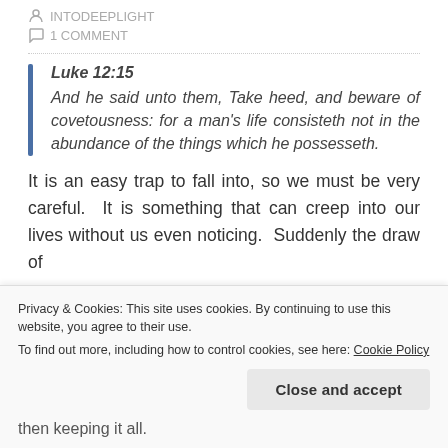INTODEEPLIGHT
1 COMMENT
Luke 12:15
And he said unto them, Take heed, and beware of covetousness: for a man's life consisteth not in the abundance of the things which he possesseth.
It is an easy trap to fall into, so we must be very careful.  It is something that can creep into our lives without us even noticing.  Suddenly the draw of
Privacy & Cookies: This site uses cookies. By continuing to use this website, you agree to their use.
To find out more, including how to control cookies, see here: Cookie Policy
Close and accept
then keeping it all.